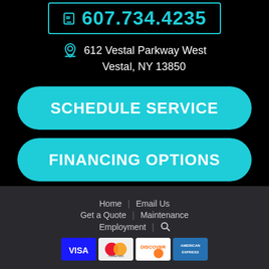607.734.4235
612 Vestal Parkway West
Vestal, NY 13850
SCHEDULE SERVICE
FINANCING OPTIONS
Home | Email Us | Get a Quote | Maintenance | Employment | [search]
[Figure (other): Payment card logos: VISA, Mastercard, Discover, American Express]